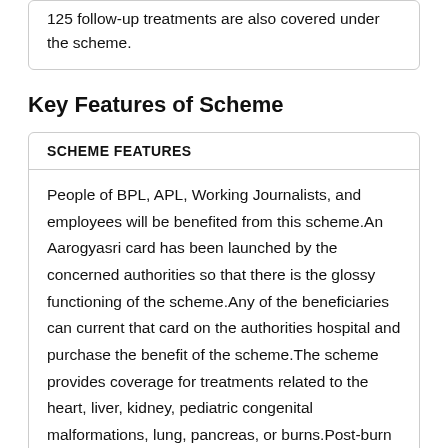125 follow-up treatments are also covered under the scheme.
Key Features of Scheme
| SCHEME FEATURES |
| --- |
| People of BPL, APL, Working Journalists, and employees will be benefited from this scheme.An Aarogyasri card has been launched by the concerned authorities so that there is the glossy functioning of the scheme.Any of the beneficiaries can current that card on the authorities hospital and purchase the benefit of the scheme.The scheme provides coverage for treatments related to the heart, liver, kidney, pediatric congenital malformations, lung, pancreas, or burns.Post-burn contracture surgeries that are conducted for the improvement of body functions, cancer treatments, prostheses, and polytrauma are also |